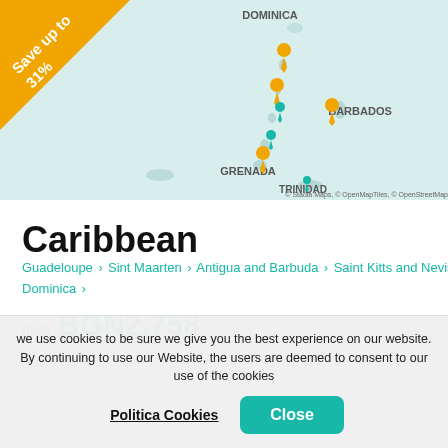[Figure (map): Caribbean map showing island chain from Dominica south through Barbados, Grenada, to Trinidad. Orange and teal location pin markers on islands. Light teal/mint background ocean. Save up to 31% orange triangle badge in top-left. Map attribution: © Stadia Maps, © OpenMapTiles, © OpenStreetMap]
Caribbean
Guadeloupe > Sint Maarten > Antigua and Barbuda > Saint Kitts and Nevis > Dominica >
from BGN2,758
Tour Operator    Ship
we use cookies to be sure we give you the best experience on our website. By continuing to use our Website, the users are deemed to consent to our use of the cookies
Politica Cookies   Close